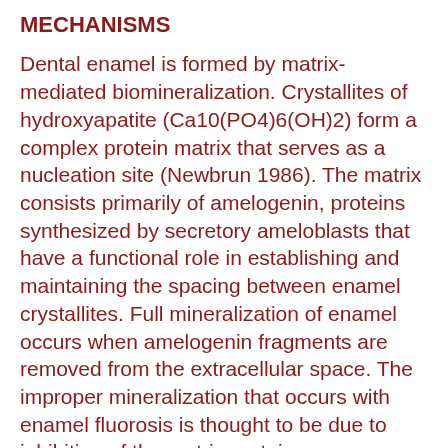MECHANISMS
Dental enamel is formed by matrix-mediated biomineralization. Crystallites of hydroxyapatite (Ca10(PO4)6(OH)2) form a complex protein matrix that serves as a nucleation site (Newbrun 1986). The matrix consists primarily of amelogenin, proteins synthesized by secretory ameloblasts that have a functional role in establishing and maintaining the spacing between enamel crystallites. Full mineralization of enamel occurs when amelogenin fragments are removed from the extracellular space. The improper mineralization that occurs with enamel fluorosis is thought to be due to inhibition of the matrix proteinases responsible for removing amelogenin fragments. The delay in removal